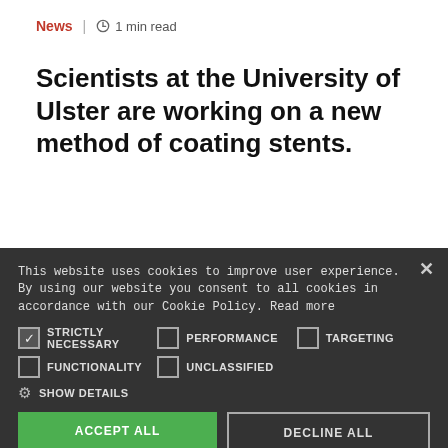News | 1 min read
Scientists at the University of Ulster are working on a new method of coating stents.
[Figure (photo): Partial photo of a colorful blurred image, partially obscured by cookie consent banner]
This website uses cookies to improve user experience. By using our website you consent to all cookies in accordance with our Cookie Policy. Read more
STRICTLY NECESSARY (checked), PERFORMANCE (unchecked), TARGETING (unchecked)
FUNCTIONALITY (unchecked), UNCLASSIFIED (unchecked)
SHOW DETAILS
ACCEPT ALL | DECLINE ALL